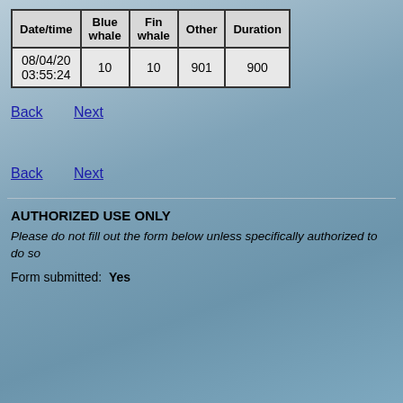| Date/time | Blue whale | Fin whale | Other | Duration |
| --- | --- | --- | --- | --- |
| 08/04/20 03:55:24 | 10 | 10 | 901 | 900 |
Back  Next
Back  Next
AUTHORIZED USE ONLY
Please do not fill out the form below unless specifically authorized to do so
Form submitted:  Yes